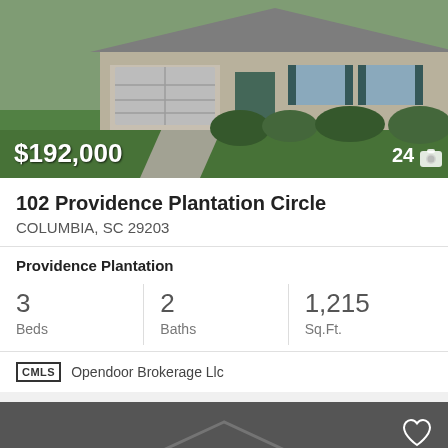[Figure (photo): Exterior photo of a single-story house with two-car garage, green lawn, and shrubs. Shows $192,000 price overlay and photo count of 24.]
102 Providence Plantation Circle
COLUMBIA, SC 29203
Providence Plantation
3 Beds   2 Baths   1,215 Sq.Ft.
Opendoor Brokerage Llc
[Figure (other): Dark gray card with heart icon, wheelchair accessibility icon, and faint house outline graphic.]